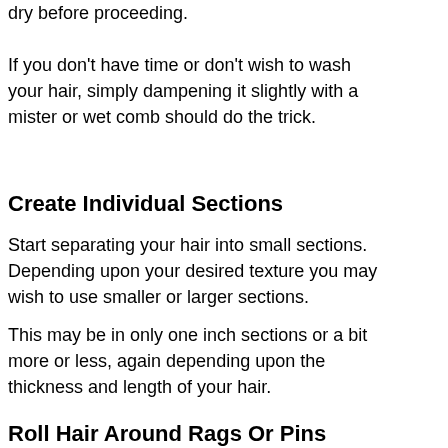dry before proceeding.
If you don't have time or don't wish to wash your hair, simply dampening it slightly with a mister or wet comb should do the trick.
Create Individual Sections
Start separating your hair into small sections.  Depending upon your desired texture you may wish to use smaller or larger sections.
This may be in only one inch sections or a bit more or less, again depending upon the thickness and length of your hair.
Roll Hair Around Rags Or Pins